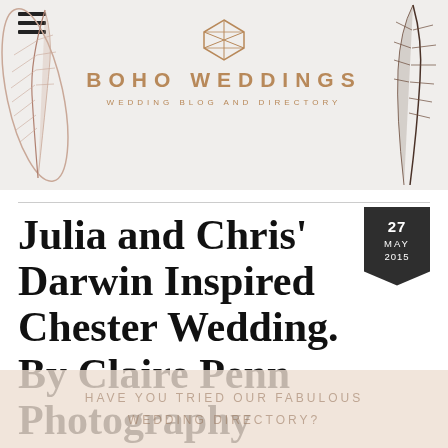[Figure (illustration): Boho Weddings website header banner with geometric gold logo, 'BOHO WEDDINGS' title in gold, 'WEDDING BLOG AND DIRECTORY' subtitle, feather decorations on left and right sides, and hamburger menu icon top-left]
Julia and Chris’ Darwin Inspired Chester Wedding. By Claire Penn Photography